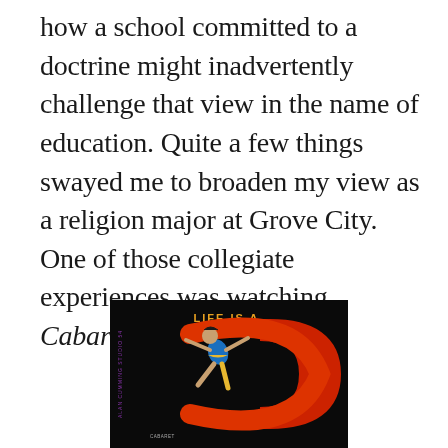how a school committed to a doctrine might inadvertently challenge that view in the name of education. Quite a few things swayed me to broaden my view as a religion major at Grove City. One of those collegiate experiences was watching Cabaret.
[Figure (photo): Cabaret movie/show poster on black background featuring a dancer in a colorful costume with 'LIFE IS A.' text visible in orange/yellow at the top, and a large stylized 'C' shape in red/orange neon-style letters with additional text along the left side.]